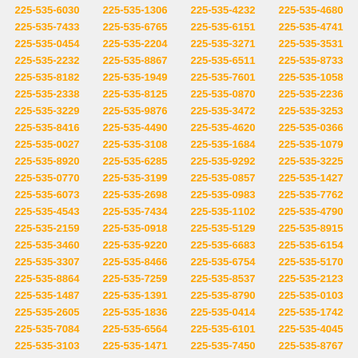225-535-6030 225-535-1306 225-535-4232 225-535-4680 225-535-7433 225-535-6765 225-535-6151 225-535-4741 225-535-0454 225-535-2204 225-535-3271 225-535-3531 225-535-2232 225-535-8867 225-535-6511 225-535-8733 225-535-8182 225-535-1949 225-535-7601 225-535-1058 225-535-2338 225-535-8125 225-535-0870 225-535-2236 225-535-3229 225-535-9876 225-535-3472 225-535-3253 225-535-8416 225-535-4490 225-535-4620 225-535-0366 225-535-0027 225-535-3108 225-535-1684 225-535-1079 225-535-8920 225-535-6285 225-535-9292 225-535-3225 225-535-0770 225-535-3199 225-535-0857 225-535-1427 225-535-6073 225-535-2698 225-535-0983 225-535-7762 225-535-4543 225-535-7434 225-535-1102 225-535-4790 225-535-2159 225-535-0918 225-535-5129 225-535-8915 225-535-3460 225-535-9220 225-535-6683 225-535-6154 225-535-3307 225-535-8466 225-535-6754 225-535-5170 225-535-8864 225-535-7259 225-535-8537 225-535-2123 225-535-1487 225-535-1391 225-535-8790 225-535-0103 225-535-2605 225-535-1836 225-535-0414 225-535-1742 225-535-7084 225-535-6564 225-535-6101 225-535-4045 225-535-3103 225-535-1471 225-535-7450 225-535-8767 225-535-0929 225-535-5782 225-535-1050 225-535-1214 225-535-2100 225-535-8324 225-535-5629 225-535-6238 225-535-5023 225-535-1230 225-535-2065 225-535-6505 225-535-9129 225-535-7245 225-535-1565 225-535-8223 225-535-7909 225-535-3866 225-535-5852 225-535-6415 225-535-1626 225-535-5431 225-535-7971 225-535-6379 225-535-6347 225-535-1548 225-535-9663 225-535-2670 225-535-7348 225-535-2911 225-535-4157 225-535-9574 225-535-9905 225-535-7017 225-535-1094 225-535-8022